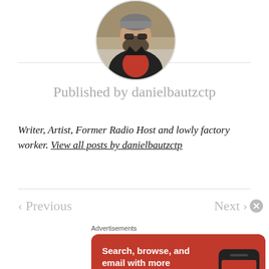[Figure (photo): Circular profile photo of a bearded man wearing sunglasses and a leather jacket outdoors]
Published by danielbautzctp
Writer, Artist, Former Radio Host and lowly factory worker. View all posts by danielbautzctp
< Previous
Next >
Advertisements
[Figure (screenshot): DuckDuckGo advertisement banner with orange background. Text: Search, browse, and email with more privacy. All in One Free App. Shows a phone with DuckDuckGo logo.]